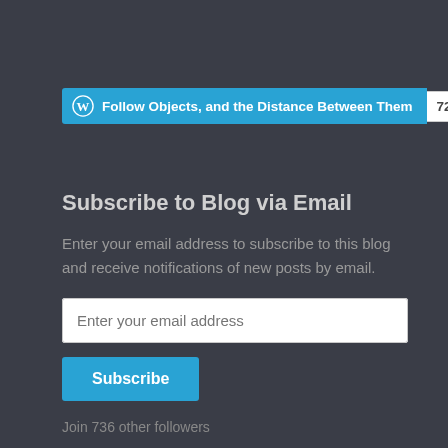[Figure (other): WordPress Follow button bar showing 'Follow Objects, and the Distance Between Them' with count badge 727]
Subscribe to Blog via Email
Enter your email address to subscribe to this blog and receive notifications of new posts by email.
Enter your email address
Subscribe
Join 736 other followers